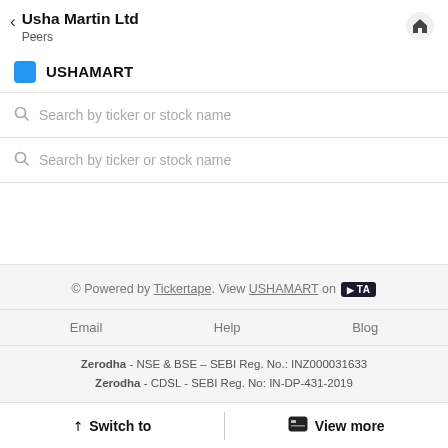Usha Martin Ltd / Peers
USHAMART
Search by ticker or stock name
Search by ticker or stock name
© Powered by Tickertape. View USHAMART on [Tickertape]
Email   Help   Blog
Zerodha - NSE & BSE – SEBI Reg. No.: INZ000031633
Zerodha - CDSL - SEBI Reg. No: IN-DP-431-2019
Switch to   View more